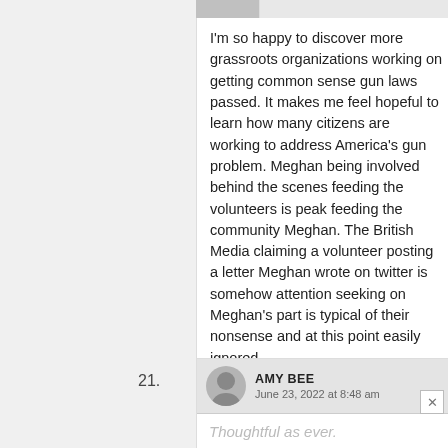I'm so happy to discover more grassroots organizations working on getting common sense gun laws passed. It makes me feel hopeful to learn how many citizens are working to address America's gun problem. Meghan being involved behind the scenes feeding the volunteers is peak feeding the community Meghan. The British Media claiming a volunteer posting a letter Meghan wrote on twitter is somehow attention seeking on Meghan's part is typical of their nonsense and at this point easily ignored.
21. AMY BEE
June 23, 2022 at 8:48 am
Thoughtful as ever.